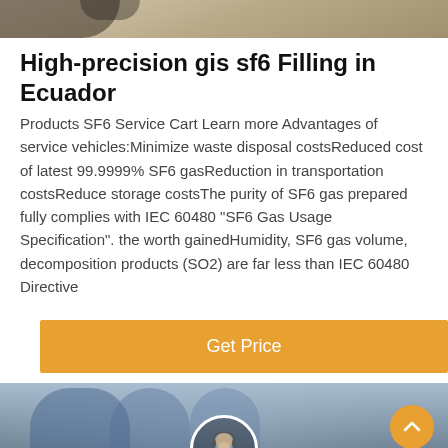[Figure (photo): Top banner photo showing industrial/technical equipment with brown/tan background]
High-precision gis sf6 Filling in Ecuador
Products SF6 Service Cart Learn more Advantages of service vehicles:Minimize waste disposal costsReduced cost of latest 99.9999% SF6 gasReduction in transportation costsReduce storage costsThe purity of SF6 gas prepared fully complies with IEC 60480 "SF6 Gas Usage Specification". the worth gainedHumidity, SF6 gas volume, decomposition products (SO2) are far less than IEC 60480 Directive
[Figure (other): Orange Get Price button]
[Figure (photo): Bottom banner showing workers in blue uniforms working with industrial equipment, with scroll-up button and customer service agent avatar]
Leave Message   Chat Online